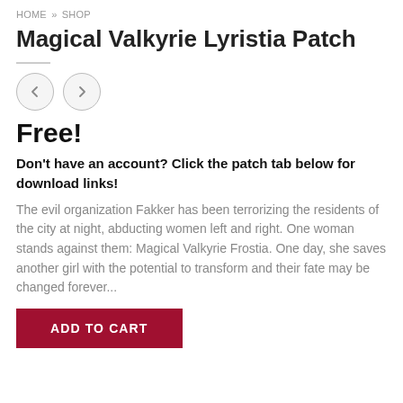HOME » SHOP
Magical Valkyrie Lyristia Patch
[Figure (other): Navigation arrow buttons: left arrow circle and right arrow circle for image/product navigation]
Free!
Don't have an account? Click the patch tab below for download links!
The evil organization Fakker has been terrorizing the residents of the city at night, abducting women left and right. One woman stands against them: Magical Valkyrie Frostia. One day, she saves another girl with the potential to transform and their fate may be changed forever...
ADD TO CART